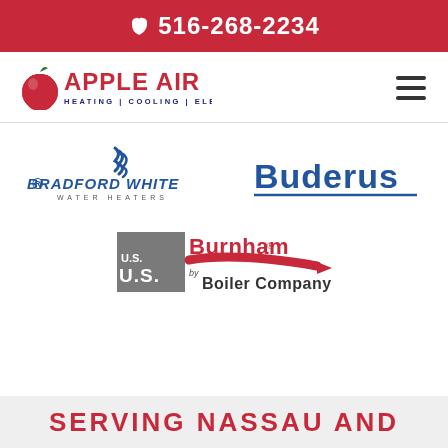📞 516-268-2234
[Figure (logo): Apple Air Heating | Cooling | Electric | Plumbing logo with red apple icon]
[Figure (logo): Bradford White Water Heaters logo]
[Figure (logo): Buderus logo]
[Figure (logo): Burnham by U.S. Boiler Company logo]
SERVING NASSAU AND